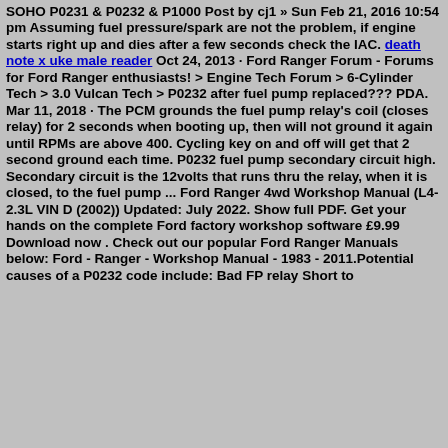SOHO P0231 & P0232 & P1000 Post by cj1 » Sun Feb 21, 2016 10:54 pm Assuming fuel pressure/spark are not the problem, if engine starts right up and dies after a few seconds check the IAC. death note x uke male reader Oct 24, 2013 · Ford Ranger Forum - Forums for Ford Ranger enthusiasts! > Engine Tech Forum > 6-Cylinder Tech > 3.0 Vulcan Tech > P0232 after fuel pump replaced??? PDA. Mar 11, 2018 · The PCM grounds the fuel pump relay's coil (closes relay) for 2 seconds when booting up, then will not ground it again until RPMs are above 400. Cycling key on and off will get that 2 second ground each time. P0232 fuel pump secondary circuit high. Secondary circuit is the 12volts that runs thru the relay, when it is closed, to the fuel pump ... Ford Ranger 4wd Workshop Manual (L4-2.3L VIN D (2002)) Updated: July 2022. Show full PDF. Get your hands on the complete Ford factory workshop software £9.99 Download now . Check out our popular Ford Ranger Manuals below: Ford - Ranger - Workshop Manual - 1983 - 2011.Potential causes of a P0232 code include: Bad FP relay Short to